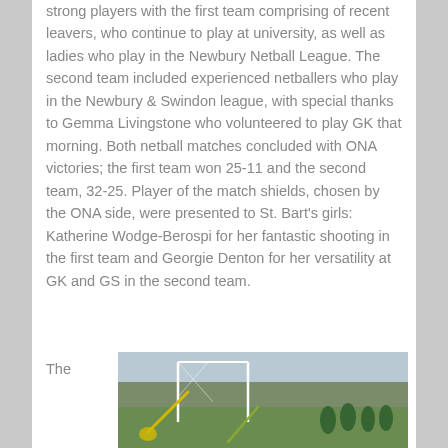strong players with the first team comprising of recent leavers, who continue to play at university, as well as ladies who play in the Newbury Netball League. The second team included experienced netballers who play in the Newbury & Swindon league, with special thanks to Gemma Livingstone who volunteered to play GK that morning. Both netball matches concluded with ONA victories; the first team won 25-11 and the second team, 32-25. Player of the match shields, chosen by the ONA side, were presented to St. Bart's girls: Katherine Wodge-Berospi for her fantastic shooting in the first team and Georgie Denton for her versatility at GK and GS in the second team.
The
[Figure (photo): Outdoor photo showing netball/lacrosse players on a field with a goal post visible and trees in the background]